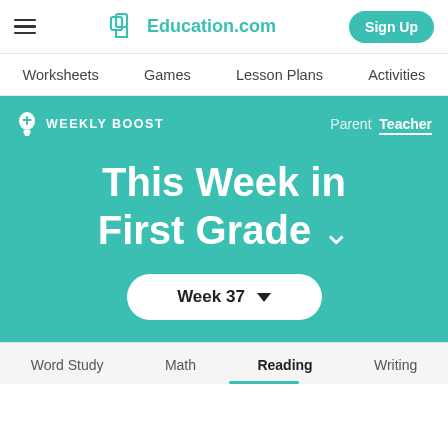Education.com — Sign Up
Worksheets  Games  Lesson Plans  Activities
[Figure (screenshot): Education.com Weekly Boost hero section showing 'This Week in First Grade' with Week 37 selector, Parent/Teacher toggle, teal background]
Word Study  Math  Reading  Writing